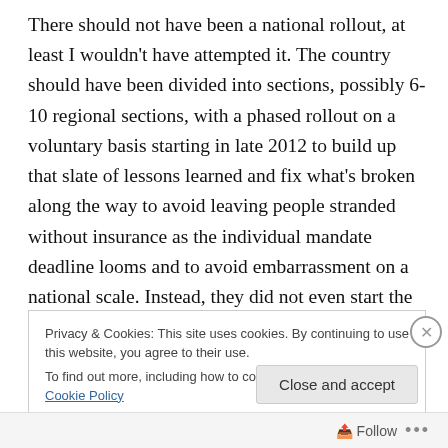There should not have been a national rollout, at least I wouldn't have attempted it. The country should have been divided into sections, possibly 6-10 regional sections, with a phased rollout on a voluntary basis starting in late 2012 to build up that slate of lessons learned and fix what's broken along the way to avoid leaving people stranded without insurance as the individual mandate deadline looms and to avoid embarrassment on a national scale. Instead, they did not even start the base coding project until May 2013 – at least a year too late.
Privacy & Cookies: This site uses cookies. By continuing to use this website, you agree to their use.
To find out more, including how to control cookies, see here: Cookie Policy